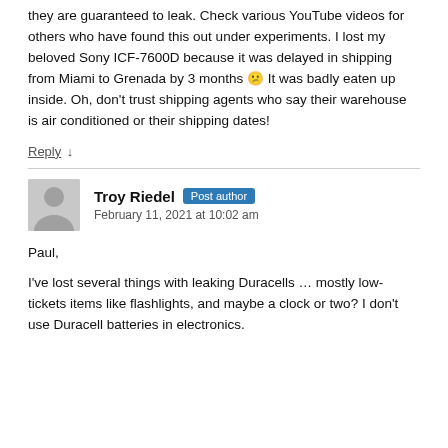they are guaranteed to leak. Check various YouTube videos for others who have found this out under experiments. I lost my beloved Sony ICF-7600D because it was delayed in shipping from Miami to Grenada by 3 months 😕 It was badly eaten up inside. Oh, don't trust shipping agents who say their warehouse is air conditioned or their shipping dates!
Reply ↓
Troy Riedel  Post author
February 11, 2021 at 10:02 am
Paul,
I've lost several things with leaking Duracells … mostly low-tickets items like flashlights, and maybe a clock or two? I don't use Duracell batteries in electronics.